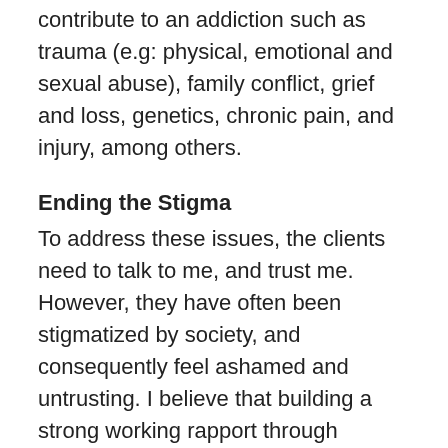contribute to an addiction such as trauma (e.g: physical, emotional and sexual abuse), family conflict, grief and loss, genetics, chronic pain, and injury, among others.
Ending the Stigma
To address these issues, the clients need to talk to me, and trust me. However, they have often been stigmatized by society, and consequently feel ashamed and untrusting. I believe that building a strong working rapport through compassion, empathy and genuineness, is a necessary first step to creating a space where they can share their stories, feel validated and heard, and begin to work on change and recovery from their addiction.
One of my clients recently said to me,
“At the Grace Centre I learned that I’m not alone, I’m not a bad person, and it’s okay to talk about addiction. I learned